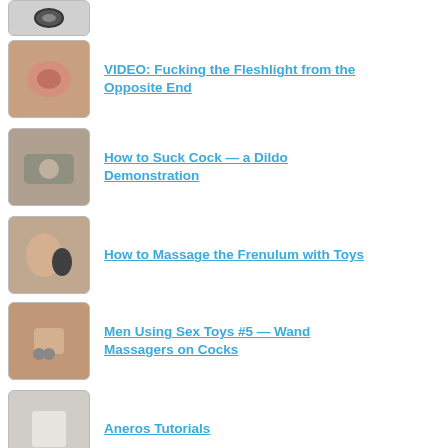VIDEO: Fucking the Fleshlight from the Opposite End
How to Suck Cock — a Dildo Demonstration
How to Massage the Frenulum with Toys
Men Using Sex Toys #5 — Wand Massagers on Cocks
Aneros Tutorials
Frenulum Stimulation Enhancement Ring from SteveohToys
Brent Everett's Cock! Brent Everett's Dildo!